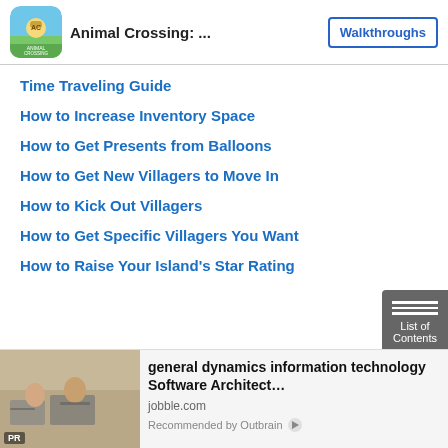Animal Crossing: ... | Walkthroughs
Time Traveling Guide
How to Increase Inventory Space
How to Get Presents from Balloons
How to Get New Villagers to Move In
How to Kick Out Villagers
How to Get Specific Villagers You Want
How to Raise Your Island's Star Rating
[Figure (photo): PR advertisement photo showing office workers at computers]
general dynamics information technology Software Architect… | jobble.com | Recommended by Outbrain